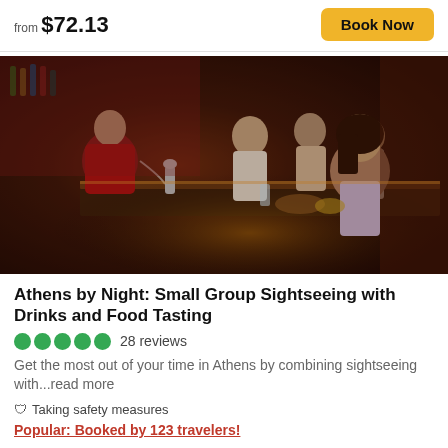from $72.13
Book Now
[Figure (photo): A bar scene in Athens at night: a bartender in red shirt pouring a drink, patrons sitting at a bar counter with food and drinks, warm dark interior lighting]
Athens by Night: Small Group Sightseeing with Drinks and Food Tasting
●●●●● 28 reviews
Get the most out of your time in Athens by combining sightseeing with...read more
🛡 Taking safety measures
Popular: Booked by 123 travelers!